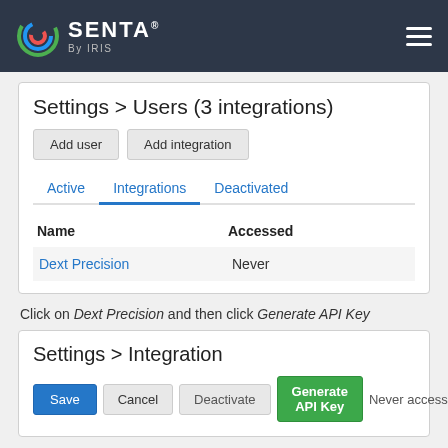SENTA By IRIS
Settings > Users (3 integrations)
Add user | Add integration
Active  Integrations  Deactivated
| Name | Accessed |
| --- | --- |
| Dext Precision | Never |
Click on Dext Precision and then click Generate API Key
Settings > Integration
Save  Cancel  Deactivate  Generate API Key  Never accessed